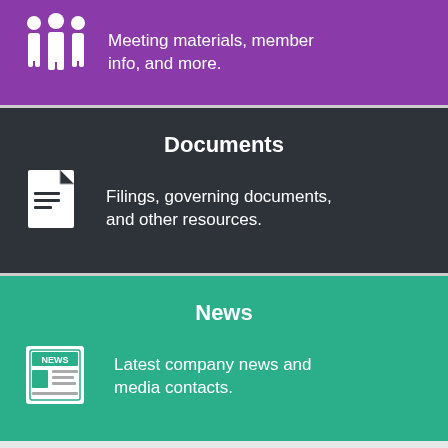[Figure (infographic): Purple section with people/group icon and text: Meeting materials, member info, and more.]
Meeting materials, member info, and more.
Documents
[Figure (infographic): Dark section with document/file icon]
Filings, governing documents, and other resources.
News
[Figure (infographic): Teal section with newspaper/NEWS icon]
Latest company news and media contacts.
Search  Contact Us